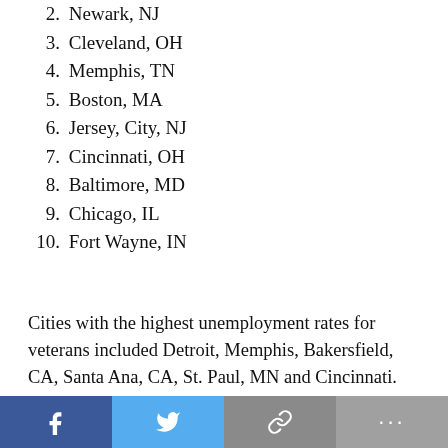2. Newark, NJ
3. Cleveland, OH
4. Memphis, TN
5. Boston, MA
6. Jersey, City, NJ
7. Cincinnati, OH
8. Baltimore, MD
9. Chicago, IL
10. Fort Wayne, IN
Cities with the highest unemployment rates for veterans included Detroit, Memphis, Bakersfield, CA, Santa Ana, CA, St. Paul, MN and Cincinnati. Detroit and Hialeah, FL had the highest rates of veterans living in poverty, and Hialeah also had the lowest number of veterans.
Social share buttons: Facebook, Twitter, Link, More